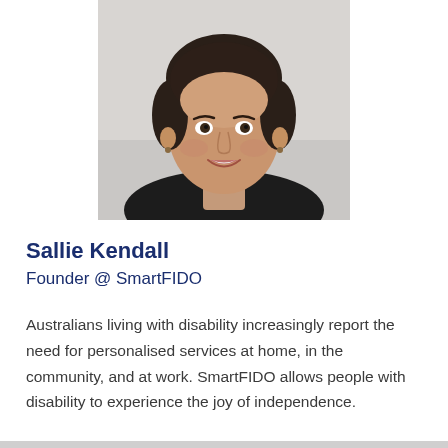[Figure (photo): Headshot portrait of a smiling woman with short dark hair, wearing a dark jacket, against a light grey background.]
Sallie Kendall
Founder @ SmartFIDO
Australians living with disability increasingly report the need for personalised services at home, in the community, and at work. SmartFIDO allows people with disability to experience the joy of independence.